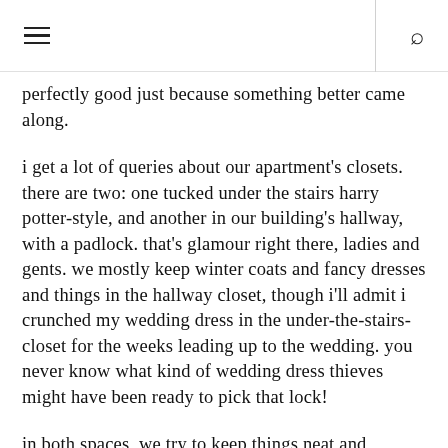≡  🔍
perfectly good just because something better came along.
i get a lot of queries about our apartment's closets. there are two: one tucked under the stairs harry potter-style, and another in our building's hallway, with a padlock. that's glamour right there, ladies and gents. we mostly keep winter coats and fancy dresses and things in the hallway closet, though i'll admit i crunched my wedding dress in the under-the-stairs-closet for the weeks leading up to the wedding. you never know what kind of wedding dress thieves might have been ready to pick that lock!
in both spaces, we try to keep things neat and organized. even, and perhaps,